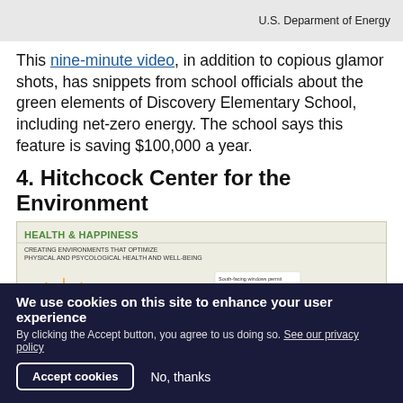U.S. Deparment of Energy
This nine-minute video, in addition to copious glamor shots, has snippets from school officials about the green elements of Discovery Elementary School, including net-zero energy. The school says this feature is saving $100,000 a year.
4. Hitchcock Center for the Environment
[Figure (infographic): Infographic showing HEALTH & HAPPINESS - CREATING ENVIRONMENTS THAT OPTIMIZE PHYSICAL AND PSYCOLOGICAL HEALTH AND WELL-BEING. Shows a building diagram with south-facing windows annotation, trees, a sun, a bear icon, and a wind icon.]
We use cookies on this site to enhance your user experience
By clicking the Accept button, you agree to us doing so. See our privacy policy
Accept cookies   No, thanks